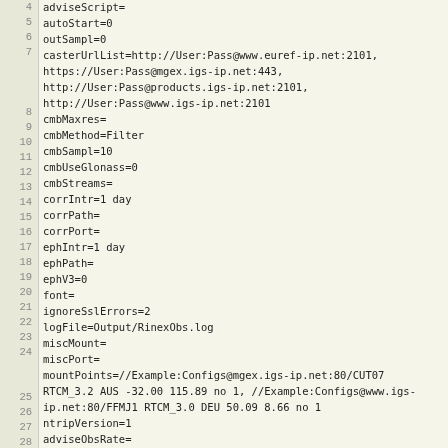4  adviseScript=
5  autoStart=0
6  outSampl=0
7  casterUrlList=http://User:Pass@www.euref-ip.net:2101,
   https://User:Pass@mgex.igs-ip.net:443,
   http://User:Pass@products.igs-ip.net:2101,
   http://User:Pass@www.igs-ip.net:2101
8  cmbMaxres=
9  cmbMethod=Filter
10 cmbSampl=10
11 cmbUseGlonass=0
12 cmbStreams=
13 corrIntr=1 day
14 corrPath=
15 corrPort=
16 ephIntr=1 day
17 ephPath=
18 ephV3=0
19 font=
20 ignoreSslErrors=2
21 logFile=Output/RinexObs.log
22 miscMount=
23 miscPort=
24 mountPoints=//Example:Configs@mgex.igs-ip.net:80/CUT07 RTCM_3.2 AUS -32.00 115.89 no 1, //Example:Configs@www.igs-ip.net:80/FFMJ1 RTCM_3.0 DEU 50.09 8.66 no 1
25 ntripVersion=1
26 adviseObsRate=
27 onTheFlyInterval=1 day
28 ephOutPort=
29 outFile=